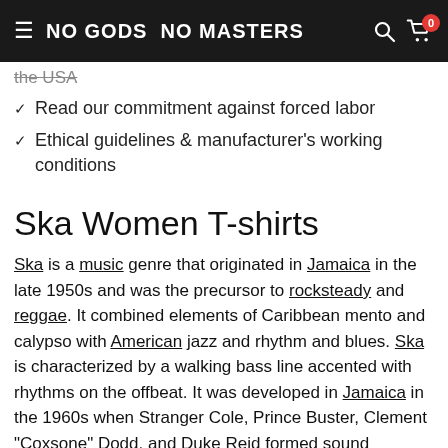NO GODS NO MASTERS
the USA
Read our commitment against forced labor
Ethical guidelines & manufacturer's working conditions
Ska Women T-shirts
Ska is a music genre that originated in Jamaica in the late 1950s and was the precursor to rocksteady and reggae. It combined elements of Caribbean mento and calypso with American jazz and rhythm and blues. Ska is characterized by a walking bass line accented with rhythms on the offbeat. It was developed in Jamaica in the 1960s when Stranger Cole, Prince Buster, Clement "Coxsone" Dodd, and Duke Reid formed sound systems to play American rhythm